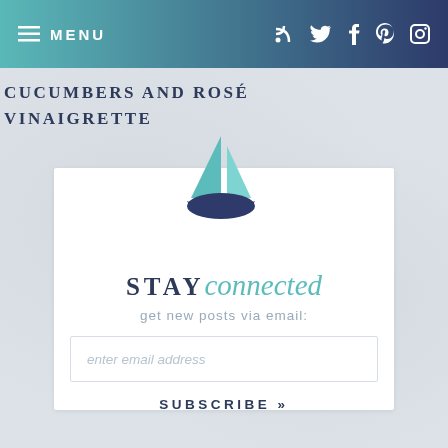≡ MENU  [social icons: RSS, Twitter, Facebook, Pinterest, Instagram]
CUCUMBERS AND ROSÉ
VINAIGRETTE
[Figure (logo): Sailboat logo with teal sail and dark blue hull]
STAY connected
get new posts via email:
enter email address
SUBSCRIBE »